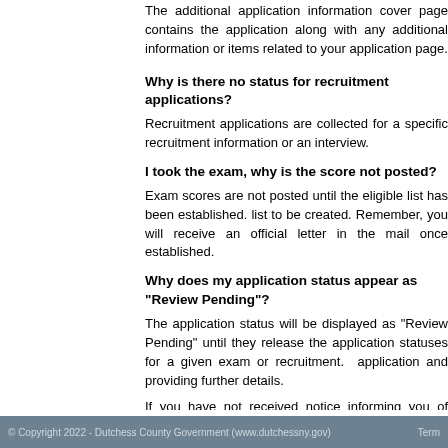The additional application information cover page contains the application along with any additional information or items related to your application page.
Why is there no status for recruitment applications?
Recruitment applications are collected for a specific recruitment information or an interview.
I took the exam, why is the score not posted?
Exam scores are not posted until the eligible list has been established. list to be created. Remember, you will receive an official letter in the mail once established.
Why does my application status appear as "Review Pending"?
The application status will be displayed as "Review Pending" until they release the application statuses for a given exam or recruitment. application and providing further details.
If you have not received notice informing you of whether or not your Dutchess County Department of Human Resources immediately at
What does an application status of "Conditionally Approved"
An application status of "Conditionally Approved" indicates that f You will receive a letter identifying the specific reason for this status.
© Copyright 2022 - Dutchess County Government (www.dutchessny.gov)   Term